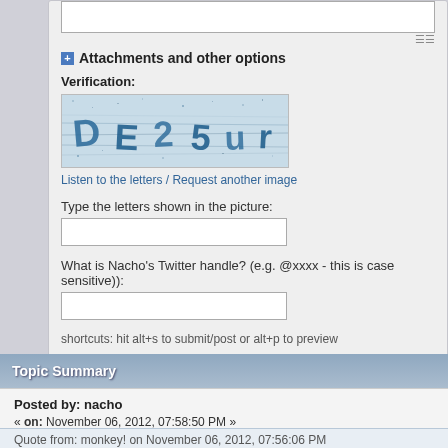+ Attachments and other options
Verification:
[Figure (other): CAPTCHA image showing distorted letters in blue on a noisy background]
Listen to the letters / Request another image
Type the letters shown in the picture:
What is Nacho's Twitter handle? (e.g. @xxxx - this is case sensitive)):
shortcuts: hit alt+s to submit/post or alt+p to preview
Topic Summary
Posted by: nacho
« on: November 06, 2012, 07:58:50 PM »
Quote from: monkey! on November 06, 2012, 07:56:06 PM